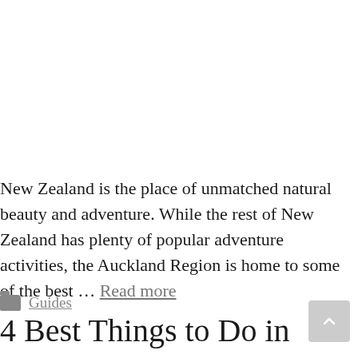New Zealand is the place of unmatched natural beauty and adventure. While the rest of New Zealand has plenty of popular adventure activities, the Auckland Region is home to some of the best ... Read more
Guides
4 Best Things to Do in